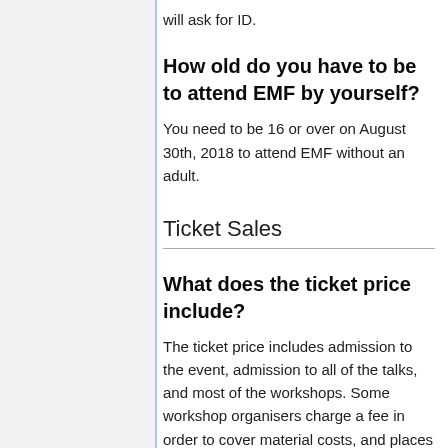will ask for ID.
How old do you have to be to attend EMF by yourself?
You need to be 16 or over on August 30th, 2018 to attend EMF without an adult.
Ticket Sales
What does the ticket price include?
The ticket price includes admission to the event, admission to all of the talks, and most of the workshops. Some workshop organisers charge a fee in order to cover material costs, and places on most workshops will be limited.
Your ticket also includes: